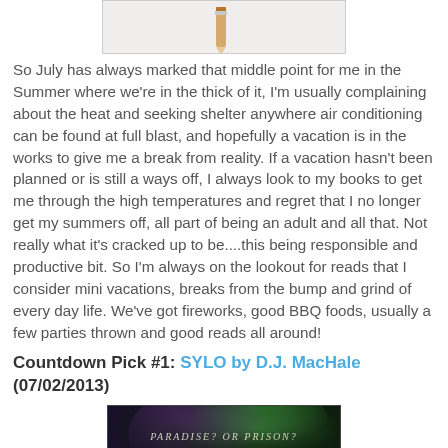[Figure (illustration): Top partial image showing what appears to be a pencil or similar object on a light background, cropped at top of page]
So July has always marked that middle point for me in the Summer where we're in the thick of it, I'm usually complaining about the heat and seeking shelter anywhere air conditioning can be found at full blast, and hopefully a vacation is in the works to give me a break from reality.  If a vacation hasn't been planned or is still a ways off, I always look to my books to get me through the high temperatures and regret that I no longer get my summers off, all part of being an adult and all that.  Not really what it's cracked up to be....this being responsible and productive bit.  So I'm always on the lookout for reads that I consider mini vacations, breaks from the bump and grind of every day life.  We've got fireworks, good BBQ foods, usually a few parties thrown and good reads all around!
Countdown Pick #1:  SYLO by D.J. MacHale (07/02/2013)
[Figure (photo): Book cover image for SYLO by D.J. MacHale showing dark background with green/purple light rays and text reading 'Paradise? Or Prison? The game has begun.']